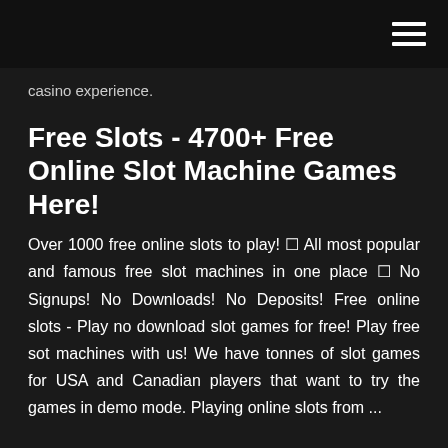casino experience.
Free Slots - 4700+ Free Online Slot Machine Games Here!
Over 1000 free online slots to play! ⭐ All most popular and famous free slot machines in one place ⭐ No Signups! No Downloads! No Deposits! Free online slots - Play no download slot games for free! Play free sot machines with us! We have tonnes of slot games for USA and Canadian players that want to try the games in demo mode. Playing online slots from ...